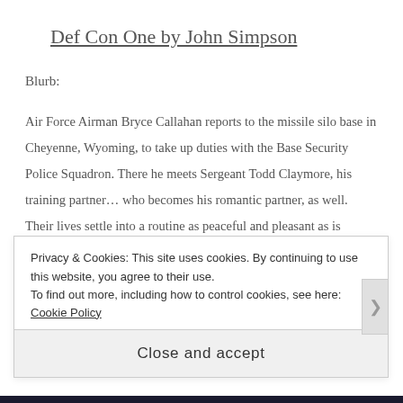Def Con One by John Simpson
Blurb:
Air Force Airman Bryce Callahan reports to the missile silo base in Cheyenne, Wyoming, to take up duties with the Base Security Police Squadron. There he meets Sergeant Todd Claymore, his training partner… who becomes his romantic partner, as well. Their lives settle into a routine as peaceful and pleasant as is possible while they're on active duty.
That peace is broken when a squad of rogue Soviet commandos cross the U.S. border headed straight for Callahan's base, intent on destroying the ICBM
Privacy & Cookies: This site uses cookies. By continuing to use this website, you agree to their use.
To find out more, including how to control cookies, see here: Cookie Policy
Close and accept